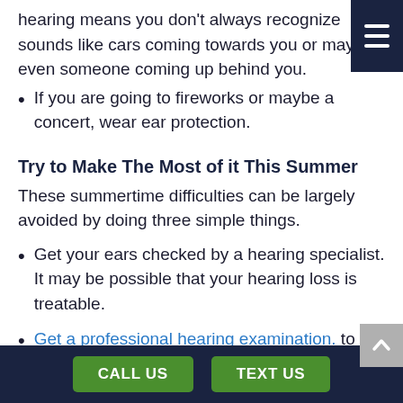hearing means you don't always recognize sounds like cars coming towards you or maybe even someone coming up behind you.
If you are going to fireworks or maybe a concert, wear ear protection.
Try to Make The Most of it This Summer
These summertime difficulties can be largely avoided by doing three simple things.
Get your ears checked by a hearing specialist. It may be possible that your hearing loss is treatable.
Get a professional hearing examination. to